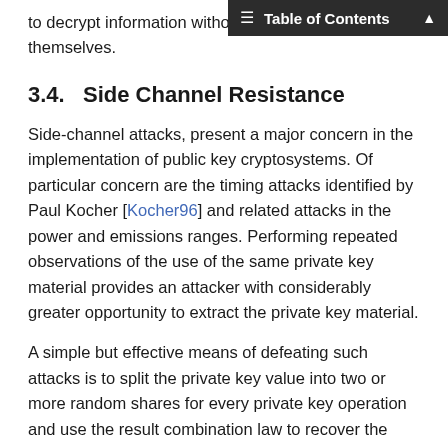Table of Contents
to decrypt information without h themselves.
3.4.  Side Channel Resistance
Side-channel attacks, present a major concern in the implementation of public key cryptosystems. Of particular concern are the timing attacks identified by Paul Kocher [Kocher96] and related attacks in the power and emissions ranges. Performing repeated observations of the use of the same private key material provides an attacker with considerably greater opportunity to extract the private key material.
A simple but effective means of defeating such attacks is to split the private key value into two or more random shares for every private key operation and use the result combination law to recover the result.
The implementation of this approach is identical to that for Threshold Decryption except that instead of giving the key shares to different parties, they are kept by the party